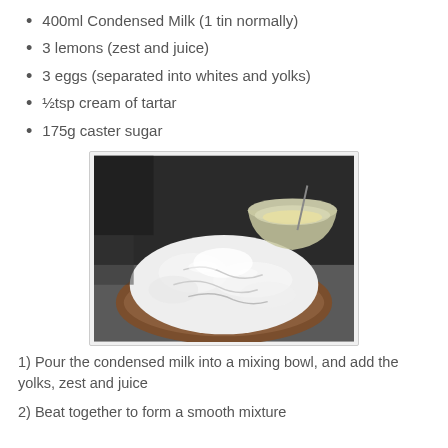400ml Condensed Milk (1 tin normally)
3 lemons (zest and juice)
3 eggs (separated into whites and yolks)
½tsp cream of tartar
175g caster sugar
[Figure (photo): A lemon meringue pie with white meringue topping in a pastry case, with a mixing bowl visible in the background on a kitchen counter.]
1) Pour the condensed milk into a mixing bowl, and add the yolks, zest and juice
2) Beat together to form a smooth mixture